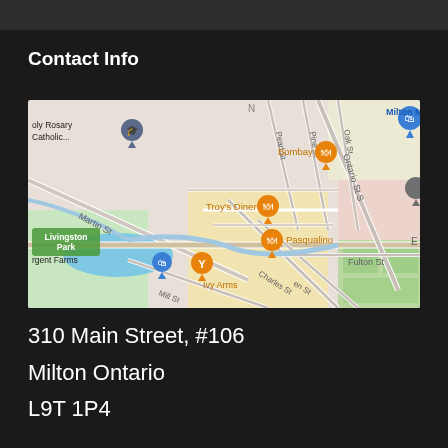Contact Info
[Figure (map): Google Maps view of Milton, Ontario area showing nearby locations including Bombay Grill, Troy's Diner, Pasqualino, Ivy Arms, Holy Rosary Catholic, Livingston Park, and Milton Mall marker. Streets visible include Martin St, Pearl St, Pine St, Oak St, Ontario St S, Charles St, Fulton St, Mill St.]
310 Main Street, #106
Milton Ontario
L9T 1P4